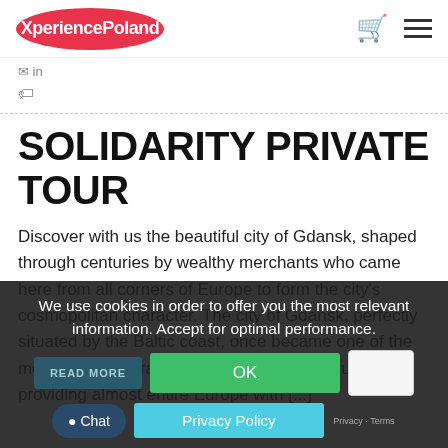XperiencePoland
in
SOLIDARITY PRIVATE TOUR
Discover with us the beautiful city of Gdansk, shaped through centuries by wealthy merchants who came here from all corners of Europe to form the city's cosmopolitan character. The city of Gdańsk, perfectly situated by the Baltic coast, once became one of the most important trading centers in Central Europe, providing almost entire Europe with [...]
We use cookies in order to offer you the most relevant information. Accept for optimal performance.